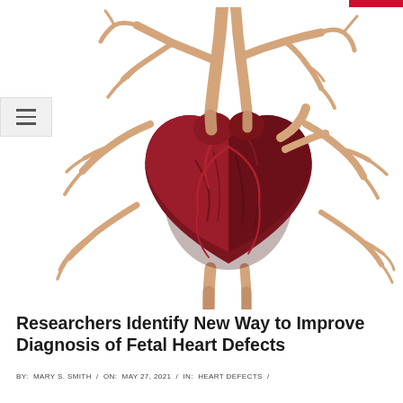[Figure (illustration): Medical illustration of a human heart with vessels and branching arteries/veins on a white background, rendered in a realistic 3D style showing the dark red heart muscle with beige/tan colored blood vessels branching outward]
Researchers Identify New Way to Improve Diagnosis of Fetal Heart Defects
BY: MARY S. SMITH / ON: MAY 27, 2021 / IN: HEART DEFECTS /